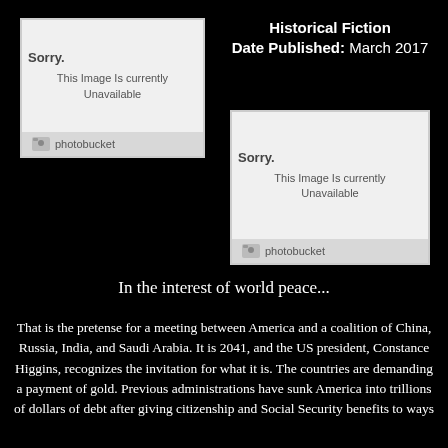[Figure (other): Photobucket placeholder image - Sorry. This Image Is currently Unavailable (left/top)]
Historical Fiction
Date Published: March 2017
[Figure (other): Photobucket placeholder image - Sorry. This Image Is currently Unavailable (right/middle)]
In the interest of world peace...
That is the pretense for a meeting between America and a coalition of China, Russia, India, and Saudi Arabia. It is 2041, and the US president, Constance Higgins, recognizes the invitation for what it is. The countries are demanding a payment of gold. Previous administrations have sunk America into trillions of dollars of debt after giving citizenship and Social Security benefits to ways